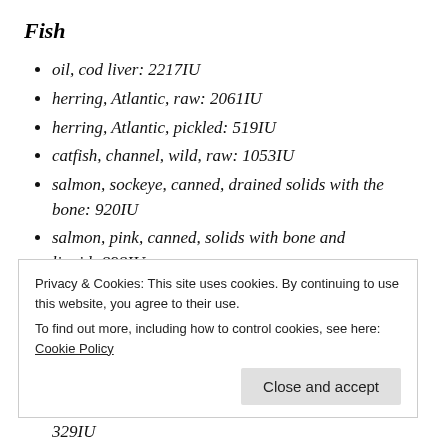Fish
oil, cod liver: 2217IU
herring, Atlantic, raw: 2061IU
herring, Atlantic, pickled: 519IU
catfish, channel, wild, raw: 1053IU
salmon, sockeye, canned, drained solids with the bone: 920IU
salmon, pink, canned, solids with bone and liquid: 898IU
salmon. chum. drained solids with the bone:
Privacy & Cookies: This site uses cookies. By continuing to use this website, you agree to their use.
To find out more, including how to control cookies, see here: Cookie Policy
329IU